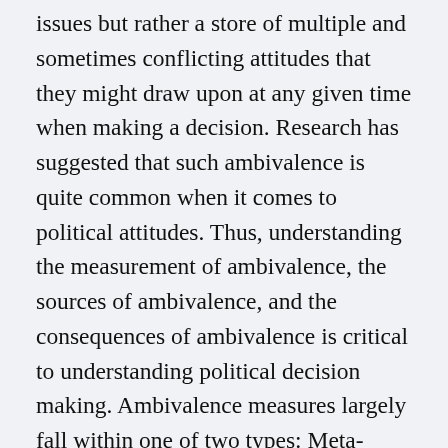issues but rather a store of multiple and sometimes conflicting attitudes that they might draw upon at any given time when making a decision. Research has suggested that such ambivalence is quite common when it comes to political attitudes. Thus, understanding the measurement of ambivalence, the sources of ambivalence, and the consequences of ambivalence is critical to understanding political decision making. Ambivalence measures largely fall within one of two types: Meta-attitudinal measures where individuals assess their own ambivalence and operative measures where researchers construct indicators that assess ambivalence without individuals' cognizance that it is being measured. Most research suggests that